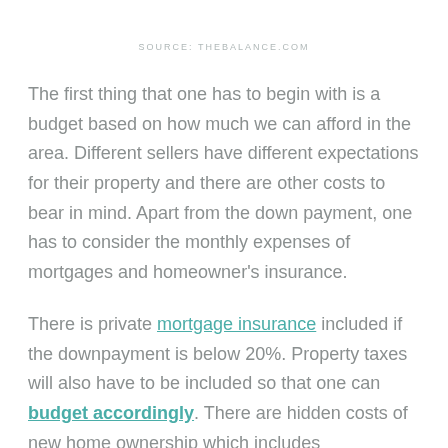SOURCE: THEBALANCE.COM
The first thing that one has to begin with is a budget based on how much we can afford in the area. Different sellers have different expectations for their property and there are other costs to bear in mind. Apart from the down payment, one has to consider the monthly expenses of mortgages and homeowner's insurance.
There is private mortgage insurance included if the downpayment is below 20%. Property taxes will also have to be included so that one can budget accordingly. There are hidden costs of new home ownership which includes maintenance and lawn care.